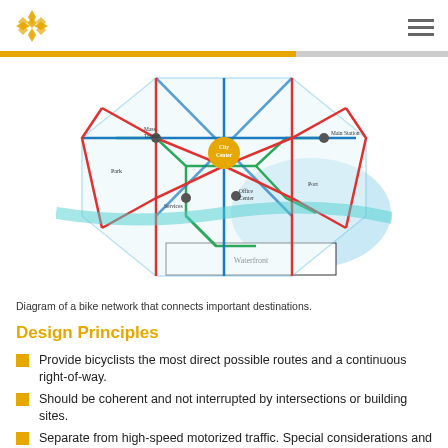[Figure (network-graph): Diagram of a bike network showing colored lines (red, blue, green, teal) connecting key city destinations including City Center, Mass Transit, Main Station, Park, Services, Office Center, Port, and Waterfront nodes arranged in an octagonal city layout.]
Diagram of a bike network that connects important destinations.
Design Principles
Provide bicyclists the most direct possible routes and a continuous right-of-way.
Should be coherent and not interrupted by intersections or building sites.
Separate from high-speed motorized traffic. Special considerations and clear visibility to bicycles should